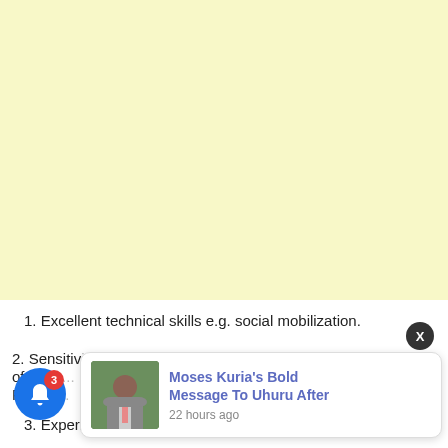[Figure (other): Yellow/cream colored advertisement banner area]
1. Excellent technical skills e.g. social mobilization.
2. Sensitivity [partially obscured] of the [partially obscured] RMNC[partially obscured]
[Figure (screenshot): Notification popup showing 'Moses Kuria's Bold Message To Uhuru After' with timestamp '22 hours ago', with a photo of a man in a suit. Blue notification bell with badge showing 3. X close button.]
3. Experienced in implementing SBC activities